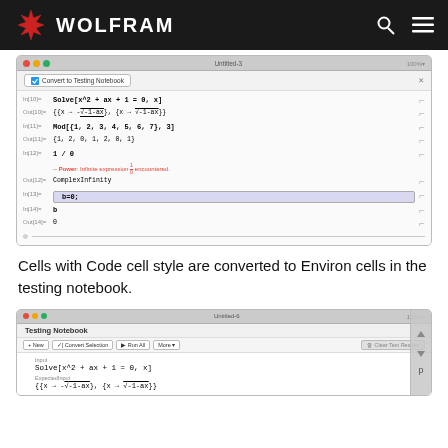WOLFRAM
[Figure (screenshot): Wolfram Mathematica notebook screenshot showing Solve, Mod, 1/0 computations with Convert to Testing Notebook button]
Cells with Code cell style are converted to Environ cells in the testing notebook.
[Figure (screenshot): Wolfram Testing Notebook screenshot showing Testing Notebook toolbar with New, Convert Selection, Run All, More, Clear Test Results buttons and Environ cell with Solve computation]